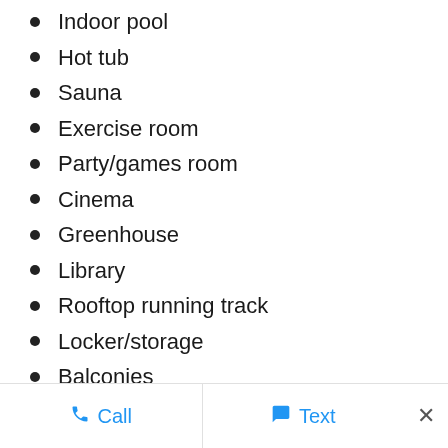Indoor pool
Hot tub
Sauna
Exercise room
Party/games room
Cinema
Greenhouse
Library
Rooftop running track
Locker/storage
Balconies
Elevator
In-suite laundry
Covered parking
Call   Text   ×